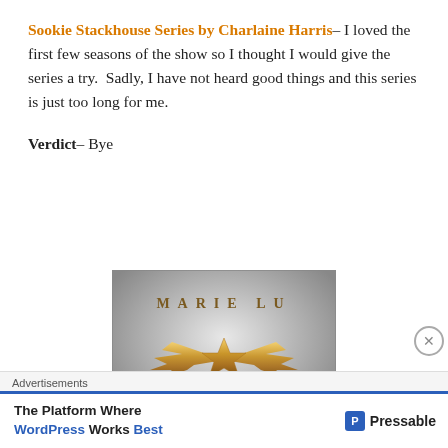Sookie Stackhouse Series by Charlaine Harris – I loved the first few seasons of the show so I thought I would give the series a try.  Sadly, I have not heard good things and this series is just too long for me.
Verdict – Bye
[Figure (photo): Book cover image showing a gold star-and-wings emblem on a silver/gray metallic background with 'MARIE LU' text at the top]
Advertisements
The Platform Where WordPress Works Best — Pressable